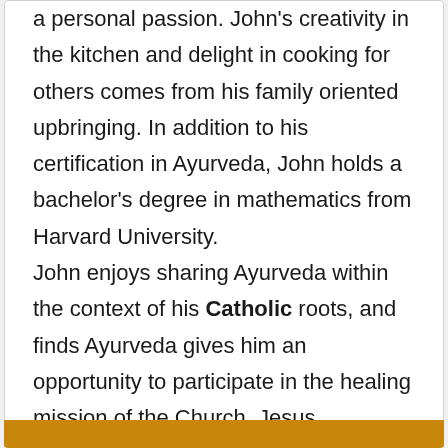a personal passion. John's creativity in the kitchen and delight in cooking for others comes from his family oriented upbringing. In addition to his certification in Ayurveda, John holds a bachelor's degree in mathematics from Harvard University.

John enjoys sharing Ayurveda within the context of his Catholic roots, and finds Ayurveda gives him an opportunity to participate in the healing mission of the Church. Jesus expressed God's love by feeding and healing the sick. That kindness is the fundamental ministry of Ayurveda as well.
Read more